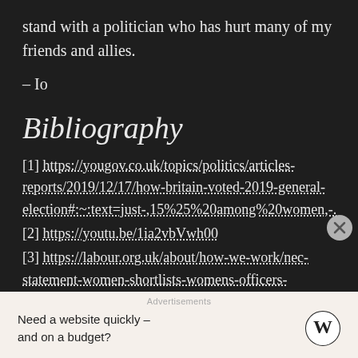stand with a politician who has hurt many of my friends and allies.
– Io
Bibliography
[1] https://yougov.co.uk/topics/politics/articles-reports/2019/12/17/how-britain-voted-2019-general-election#:~:text=just-,15%25%20among%20women,-.
[2] https://youtu.be/1ia2vbVwh00
[3] https://labour.org.uk/about/how-we-work/nec-statement-women-shortlists-womens-officers-
Advertisements
Need a website quickly – and on a budget?